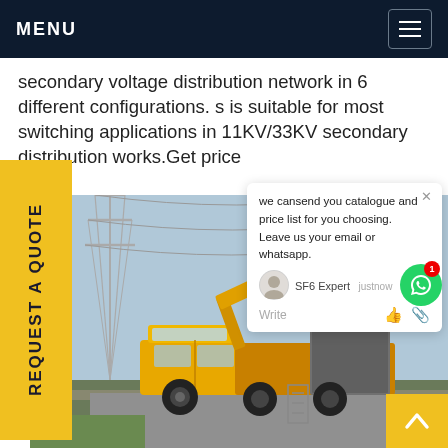MENU
secondary voltage distribution network in 6 different configurations. s is suitable for most switching applications in 11KV/33KV secondary distribution works.Get price
[Figure (photo): Yellow utility/maintenance truck parked near high-voltage electrical transmission towers at a substation. The truck has a raised platform or lift mechanism and equipment mounted on the back.]
REQUEST A QUOTE
we cansend you catalogue and price list for you choosing. Leave us your email or whatsapp.
SF6 Expert  justnow
Write